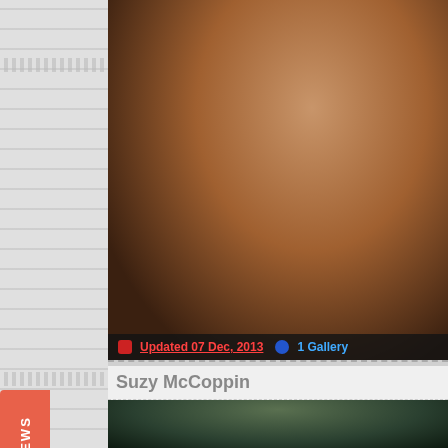[Figure (photo): Blonde woman posing in dark teal outfit in a room with decorative furniture]
Updated 07 Dec, 2013  1 Gallery
Suzy McCoppin
[Figure (photo): Partial view of second photo showing dark hair]
PORN SITE REVIEWS